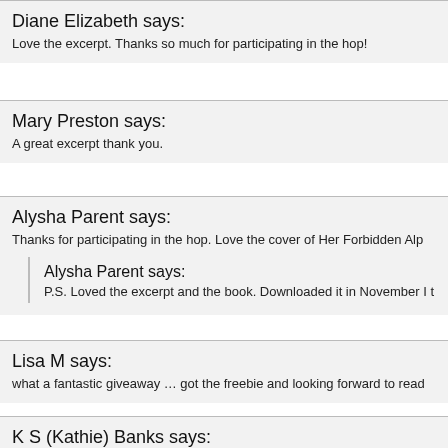Diane Elizabeth says:
Love the excerpt. Thanks so much for participating in the hop!
Mary Preston says:
A great excerpt thank you.
Alysha Parent says:
Thanks for participating in the hop. Love the cover of Her Forbidden Alp...
Alysha Parent says:
P.S. Loved the excerpt and the book. Downloaded it in November I t...
Lisa M says:
what a fantastic giveaway … got the freebie and looking forward to read...
K S (Kathie) Banks says:
Nice, nice, nice excerpt!! Would make me want a copy … but I got one a... up snarking out those great books!